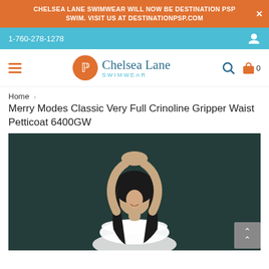CHELSEA LANE SWIMWEAR WILL NOW BE DESTINATION PSP SWIM. VISIT US AT DESTINATIONPSP.COM
1-760-278-1278
[Figure (logo): Chelsea Lane Swimwear logo with orange circular icon and brand name]
Home › Merry Modes Classic Very Full Crinoline Gripper Waist Petticoat 6400GW
[Figure (photo): Model with dark hair wearing a white strapless top, arms raised above head, on dark background]